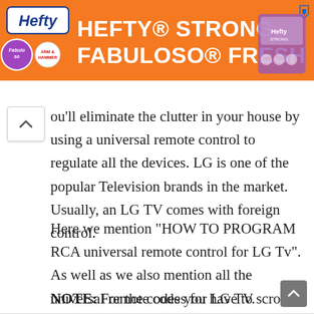[Figure (screenshot): Advertisement banner for Hefty Strong, Fabuloso Fresh product featuring orange background with Hefty and Fabuloso logos and product image]
ou'll eliminate the clutter in your house by using a universal remote control to regulate all the devices. LG is one of the popular Television brands in the market. Usually, an LG TV comes with foreign control.
Here we mention “HOW TO PROGRAM RCA universal remote control for LG Tv”. As well as we also mention all the universal remote codes for LG TV.
NOTE: For the codes you have to scroll down.